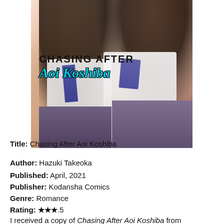[Figure (illustration): Manga-style book cover for 'Chasing After Aoi Koshiba' showing two anime schoolgirls in uniforms with the title text overlaid in black bold uppercase and cyan italic script]
Title: Chasing After Aoi Koshiba
Author: Hazuki Takeoka
Published: April, 2021
Publisher: Kodansha Comics
Genre: Romance
Rating: ★★★.5
I received a copy of Chasing After Aoi Koshiba from